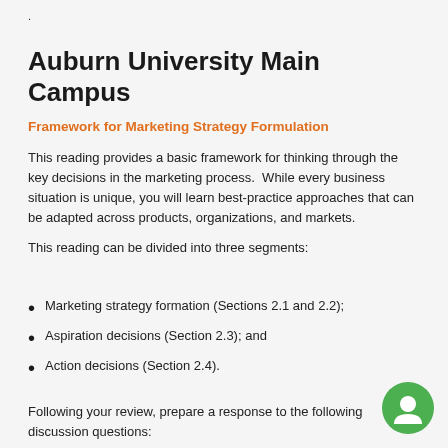.
Auburn University Main Campus
Framework for Marketing Strategy Formulation
This reading provides a basic framework for thinking through the key decisions in the marketing process. While every business situation is unique, you will learn best-practice approaches that can be adapted across products, organizations, and markets.
This reading can be divided into three segments:
Marketing strategy formation (Sections 2.1 and 2.2);
Aspiration decisions (Section 2.3); and
Action decisions (Section 2.4).
Following your review, prepare a response to the following discussion questions: